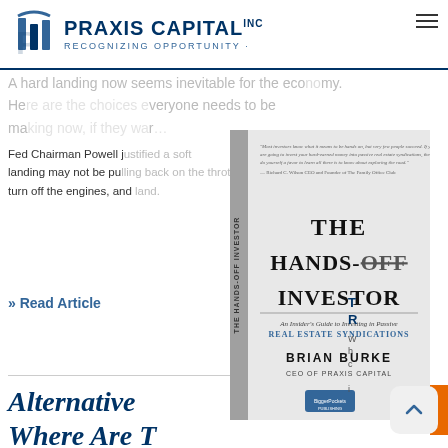Praxis Capital Inc — Recognizing Opportunity
A hard landing now seems inevitable for the economy. Here are the choices everyone needs to be making now, if they want…
Fed Chairman Powell j… landing may not be pu… turn off the engines, and…
» Read Article
[Figure (photo): Book cover: The Hands-Off Investor, An Insider's Guide to Investing in Passive Real Estate Syndications, by Brian Burke, CEO of Praxis Capital]
Alternative… Where Are T… Now?